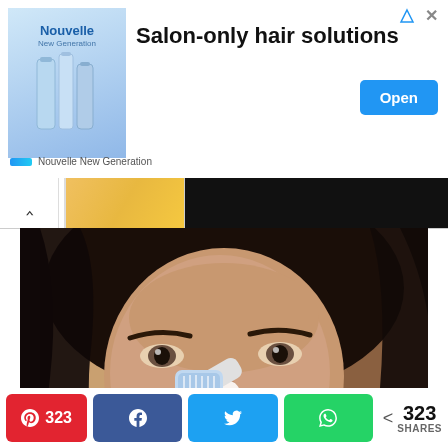[Figure (screenshot): Advertisement banner for Nouvelle New Generation salon-only hair solutions with an Open button]
[Figure (screenshot): Navigation bar with chevron up arrow, thumbnail, and dark area]
[Figure (photo): Woman applying white product to nose with a toothbrush in a beauty/skincare tutorial video screenshot]
[Figure (screenshot): Social sharing bar showing Pinterest (323), Facebook, Twitter, WhatsApp buttons and 323 SHARES total count]